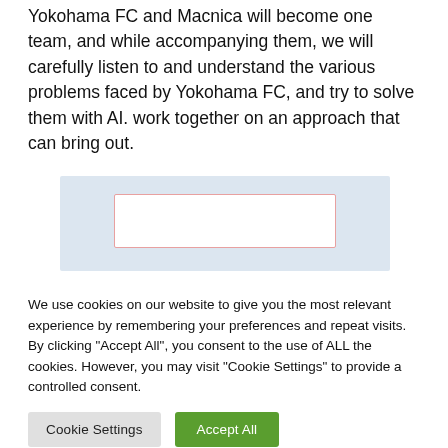Yokohama FC and Macnica will become one team, and while accompanying them, we will carefully listen to and understand the various problems faced by Yokohama FC, and try to solve them with AI. work together on an approach that can bring out.
[Figure (screenshot): A partially visible screenshot or image with a light blue background and a white rectangular area with a pinkish-red border in the center.]
We use cookies on our website to give you the most relevant experience by remembering your preferences and repeat visits. By clicking "Accept All", you consent to the use of ALL the cookies. However, you may visit "Cookie Settings" to provide a controlled consent.
Cookie Settings | Accept All